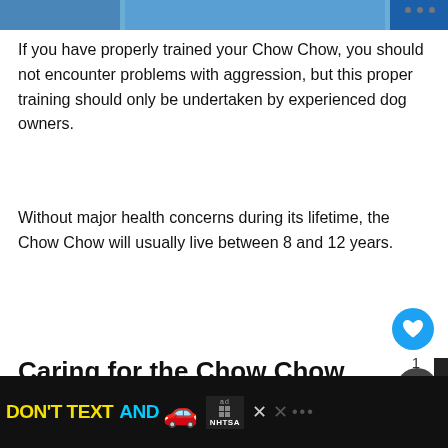[Figure (photo): Partial top image of a Chow Chow dog with blue overlay, cropped at top of page]
If you have properly trained your Chow Chow, you should not encounter problems with aggression, but this proper training should only be undertaken by experienced dog owners.
Without major health concerns during its lifetime, the Chow Chow will usually live between 8 and 12 years.
Caring for the Chow Chow
How does one care for such a unique, majestic breed? Read on to find out.
Nutrition
[Figure (screenshot): NHTSA Don't Text and Drive advertisement banner at bottom of page with yellow and blue text, red car emoji, ad logo, close buttons]